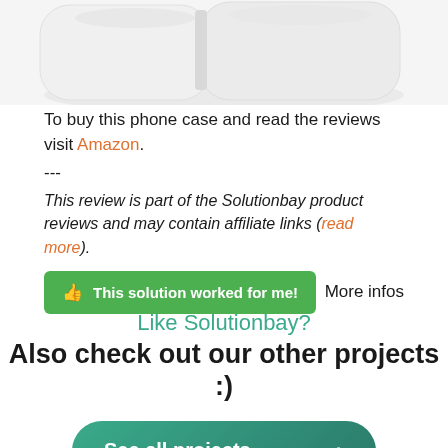[Figure (photo): Partial view of white wireless earbuds/AirPods in case from above, on light gray background]
To buy this phone case and read the reviews visit Amazon.
---
This review is part of the Solutionbay product reviews and may contain affiliate links (read more).
This solution worked for me!   More infos
Like Solutionbay?
Also check out our other projects :)
See all projects >